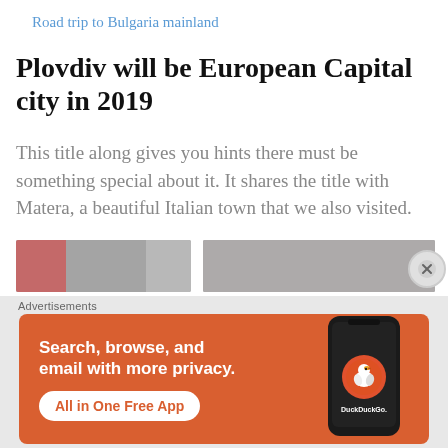Road trip to Bulgaria mainland
Plovdiv will be European Capital city in 2019
This title along gives you hints there must be something special about it. It shares the title with Matera, a beautiful Italian town that we also visited.
[Figure (photo): Two partially visible photos side by side at bottom of article, cropped]
Advertisements
[Figure (screenshot): DuckDuckGo advertisement banner: 'Search, browse, and email with more privacy. All in One Free App' with phone mockup and DuckDuckGo logo on orange background]